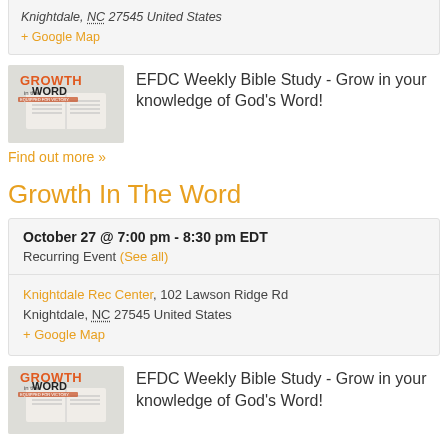Knightdale, NC 27545 United States
+ Google Map
[Figure (illustration): Growth in the Word logo with open Bible]
EFDC Weekly Bible Study - Grow in your knowledge of God's Word!
Find out more »
Growth In The Word
October 27 @ 7:00 pm - 8:30 pm EDT
Recurring Event (See all)
Knightdale Rec Center, 102 Lawson Ridge Rd
Knightdale, NC 27545 United States
+ Google Map
[Figure (illustration): Growth in the Word logo with open Bible]
EFDC Weekly Bible Study - Grow in your knowledge of God's Word!